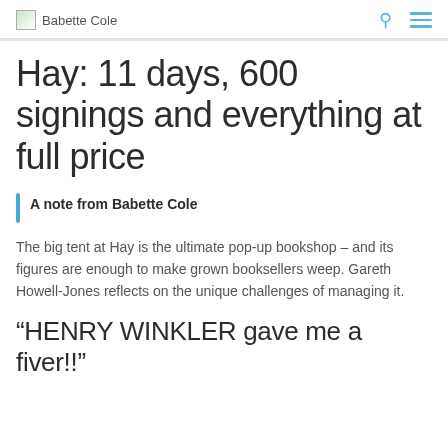Babette Cole
Hay: 11 days, 600 signings and everything at full price
A note from Babette Cole
The big tent at Hay is the ultimate pop-up bookshop – and its figures are enough to make grown booksellers weep. Gareth Howell-Jones reflects on the unique challenges of managing it.
“HENRY WINKLER gave me a fiver!!”